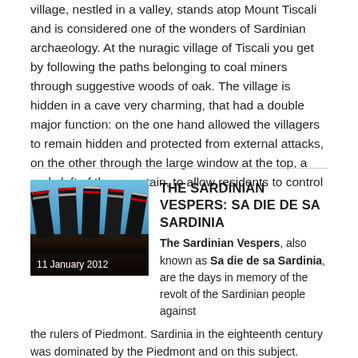village, nestled in a valley, stands atop Mount Tiscali and is considered one of the wonders of Sardinian archaeology. At the nuragic village of Tiscali you get by following the paths belonging to coal miners through suggestive woods of oak. The village is hidden in a cave very charming, that had a double major function: on the one hand allowed the villagers to remain hidden and protected from external attacks, on the other through the large window at the top, a real cleft of the mountain, to allow residents to control the valley. (more…)
[Figure (photo): Photo of flags raised against a blue sky, date labeled 11 January 2012]
THE SARDINIAN VESPERS: SA DIE DE SA SARDINIA
The Sardinian Vespers, also known as Sa die de sa Sardinia, are the days in memory of the revolt of the Sardinian people against the rulers of Piedmont. Sardinia in the eighteenth century was dominated by the Piedmont and on this subject. When Piedmont was attacked by France in Sardinia, the Sardinian population showed a regular attachment and devotion to their rulers defending the city of Cagliari from the French siege by all means. (more…)